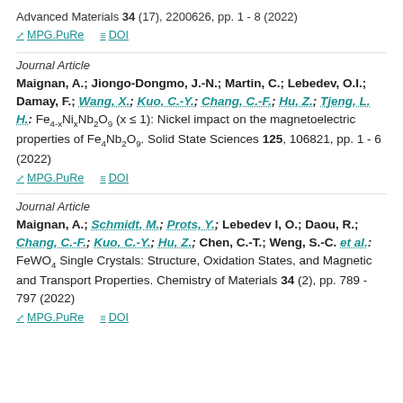Advanced Materials 34 (17), 2200626, pp. 1 - 8 (2022)
MPG.PuRe   DOI
Journal Article
Maignan, A.; Jiongo-Dongmo, J.-N.; Martin, C.; Lebedev, O.I.; Damay, F.; Wang, X.; Kuo, C.-Y.; Chang, C.-F.; Hu, Z.; Tjeng, L. H.: Fe4-xNixNb2O9 (x ≤ 1): Nickel impact on the magnetoelectric properties of Fe4Nb2O9. Solid State Sciences 125, 106821, pp. 1 - 6 (2022)
MPG.PuRe   DOI
Journal Article
Maignan, A.; Schmidt, M.; Prots, Y.; Lebedev I, O.; Daou, R.; Chang, C.-F.; Kuo, C.-Y.; Hu, Z.; Chen, C.-T.; Weng, S.-C. et al.: FeWO4 Single Crystals: Structure, Oxidation States, and Magnetic and Transport Properties. Chemistry of Materials 34 (2), pp. 789 - 797 (2022)
MPG.PuRe   DOI